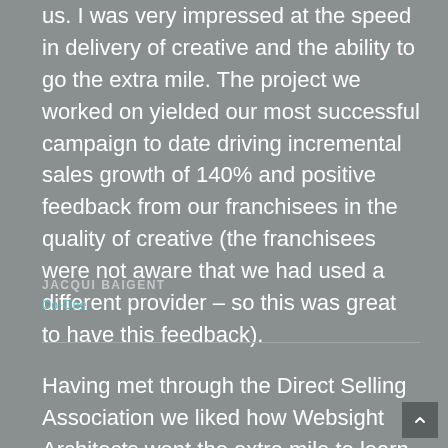us. I was very impressed at the speed in delivery of creative and the ability to go the extra mile. The project we worked on yielded our most successful campaign to date driving incremental sales growth of 140% and positive feedback from our franchisees in the quality of creative (the franchisees were not aware that we had used a different provider – so this was great to have this feedback).
JACQUI BAIGENT
Co-One
Having met through the Direct Selling Association we liked how Websight Architects went the extra mile to learn about our business